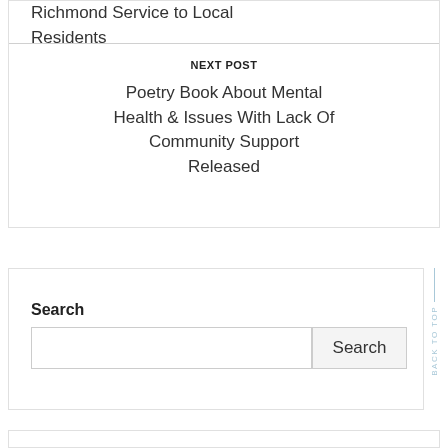Richmond Service to Local Residents
NEXT POST
Poetry Book About Mental Health & Issues With Lack Of Community Support Released
Search
Search (button)
BACK TO TOP